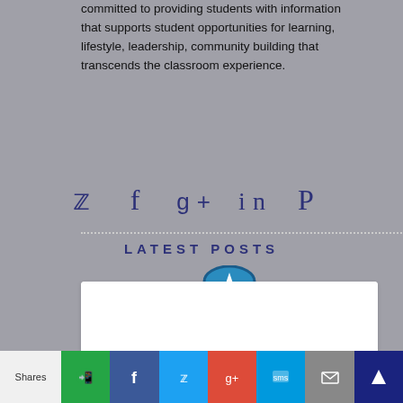committed to providing students with information that supports student opportunities for learning, lifestyle, leadership, community building that transcends the classroom experience.
[Figure (other): Social media icons row: Twitter bird, Facebook f, Google+, LinkedIn in, Pinterest P]
LATEST POSTS
[Figure (other): Card with Uniport Students' Affairs logo (blue circular emblem), title 'UNIPORT STUDENTS' AFFAIRS', subtitle 'THE OFFICIAL TELEGRAM PLATFORM OF STUDENTS' AFFAIRS DEPARTMENT,']
Shares | WhatsApp | Facebook | Twitter | Google+ | SMS | Email | More